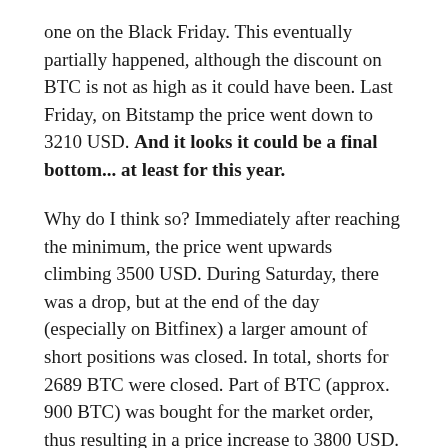one on the Black Friday. This eventually partially happened, although the discount on BTC is not as high as it could have been. Last Friday, on Bitstamp the price went down to 3210 USD. And it looks it could be a final bottom... at least for this year.
Why do I think so? Immediately after reaching the minimum, the price went upwards climbing 3500 USD. During Saturday, there was a drop, but at the end of the day (especially on Bitfinex) a larger amount of short positions was closed. In total, shorts for 2689 BTC were closed. Part of BTC (approx. 900 BTC) was bought for the market order, thus resulting in a price increase to 3800 USD. Then the correction came, so it fell back to 3500 USD and during this decrease, the rest of shorts was closed.
The fact that speculators are getting rid of shorts